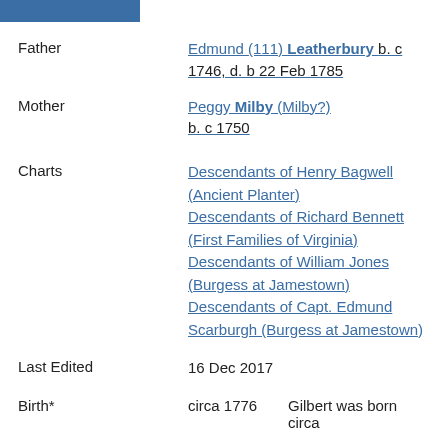Father
Edmund (111) Leatherbury b. c 1746, d. b 22 Feb 1785
Mother
Peggy Milby (Milby?) b. c 1750
Charts
Descendants of Henry Bagwell (Ancient Planter)
Descendants of Richard Bennett (First Families of Virginia)
Descendants of William Jones (Burgess at Jamestown)
Descendants of Capt. Edmund Scarburgh (Burgess at Jamestown)
Last Edited
16 Dec 2017
Birth*
circa 1776
Gilbert was born circa